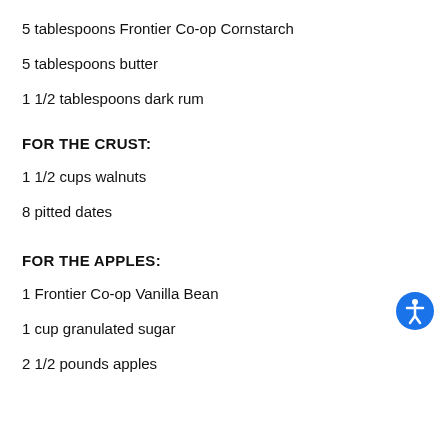5 tablespoons Frontier Co-op Cornstarch
5 tablespoons butter
1 1/2 tablespoons dark rum
FOR THE CRUST:
1 1/2 cups walnuts
8 pitted dates
FOR THE APPLES:
1 Frontier Co-op Vanilla Bean
1 cup granulated sugar
2 1/2 pounds apples